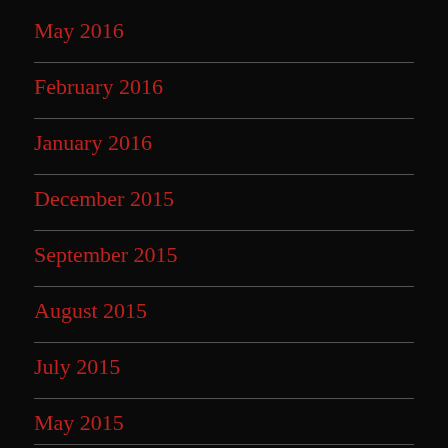May 2016
February 2016
January 2016
December 2015
September 2015
August 2015
July 2015
May 2015